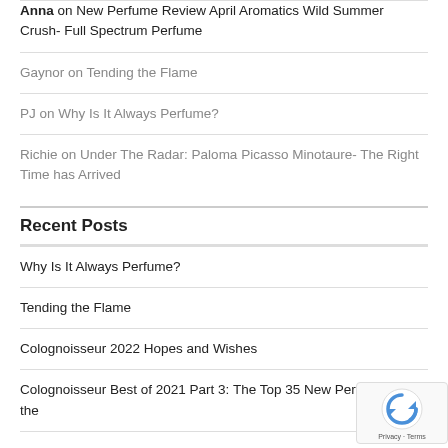Anna on New Perfume Review April Aromatics Wild Summer Crush- Full Spectrum Perfume
Gaynor on Tending the Flame
PJ on Why Is It Always Perfume?
Richie on Under The Radar: Paloma Picasso Minotaure- The Right Time has Arrived
Recent Posts
Why Is It Always Perfume?
Tending the Flame
Colognoisseur 2022 Hopes and Wishes
Colognoisseur Best of 2021 Part 3: The Top 35 New Perfumes of the